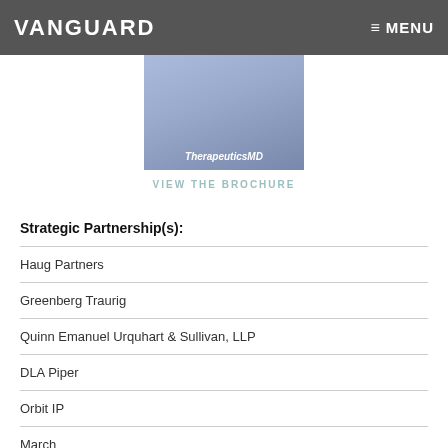VANGUARD  ≡ MENU
[Figure (photo): Photo of a man in a blue shirt outdoors, with TherapeuticsMD branding overlay and text]
VIEW THE BROCHURE
Strategic Partnership(s):
Haug Partners
Greenberg Traurig
Quinn Emanuel Urquhart & Sullivan, LLP
DLA Piper
Orbit IP
March